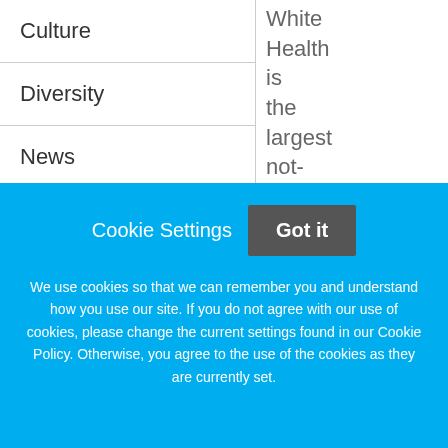Culture
Diversity
News
Vision
Baylor Scott & White Health
3500 Gaston Ave
Dallas, Texas - 75246
White Health is the largest not-for-profit healthcare system in
Cookie Settings   Got it
We use cookies so that we can remember you and understand how you use our site. If you do not agree with our use of cookies, please change the current settings found in our Cookie Policy. Otherwise, you agree to the use of the cookies as they are currently set.